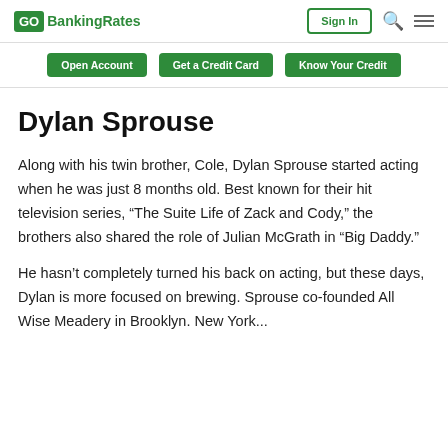GO BankingRates | Sign In
Open Account | Get a Credit Card | Know Your Credit
Dylan Sprouse
Along with his twin brother, Cole, Dylan Sprouse started acting when he was just 8 months old. Best known for their hit television series, “The Suite Life of Zack and Cody,” the brothers also shared the role of Julian McGrath in “Big Daddy.”
He hasn’t completely turned his back on acting, but these days, Dylan is more focused on brewing. Sprouse co-founded All Wise Meadery in Brooklyn. New York...